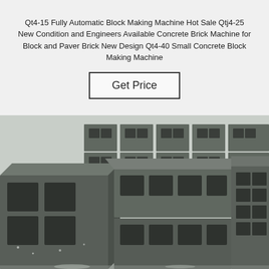Qt4-15 Fully Automatic Block Making Machine Hot Sale Qtj4-25 New Condition and Engineers Available Concrete Brick Machine for Block and Paver Brick New Design Qt4-40 Small Concrete Block Making Machine
Get Price
[Figure (photo): Photograph of stacked grey concrete hollow blocks with square holes, arranged in rows and columns in an industrial warehouse setting.]